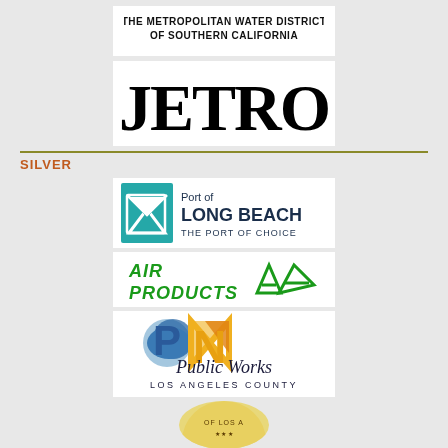[Figure (logo): The Metropolitan Water District of Southern California logo]
[Figure (logo): JETRO logo in large serif font]
SILVER
[Figure (logo): Port of Long Beach - The Port of Choice logo with teal envelope icon]
[Figure (logo): Air Products logo with green text and arrow icon]
[Figure (logo): Public Works Los Angeles County logo with PN letters in blue and yellow]
[Figure (logo): City of Los Angeles seal (partially visible at bottom)]